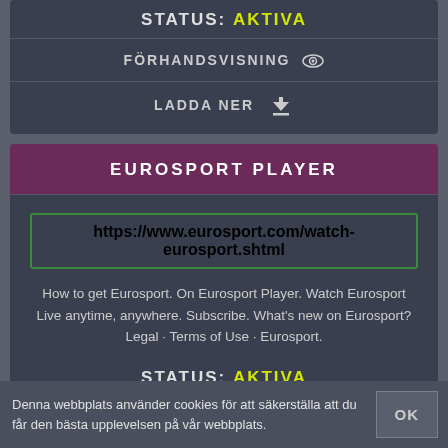STATUS: AKTIVA
FÖRHANDSVISNING
LADDA NER
EUROSPORT PLAYER
https://www.eurosport.com/watch-eurosport.shtml
How to get Eurosport. On Eurosport Player. Watch Eurosport Live anytime, anywhere. Subscribe. What's new on Eurosport? Legal · Terms of Use · Eurosport.
STATUS: AKTIVA
FÖRHANDSVISNING
Denna webbplats använder cookies för att säkerställa att du får den bästa upplevelsen på vår webbplats.